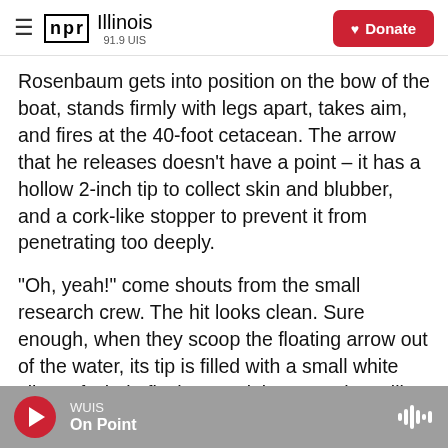NPR Illinois 91.9 UIS — Donate
Rosenbaum gets into position on the bow of the boat, stands firmly with legs apart, takes aim, and fires at the 40-foot cetacean. The arrow that he releases doesn't have a point – it has a hollow 2-inch tip to collect skin and blubber, and a cork-like stopper to prevent it from penetrating too deeply.
"Oh, yeah!" come shouts from the small research crew. The hit looks clean. Sure enough, when they scoop the floating arrow out of the water, its tip is filled with a small white sliver of whale flesh, containing DNA that will help identify the humpback and its pod and potentially say
WUIS — On Point